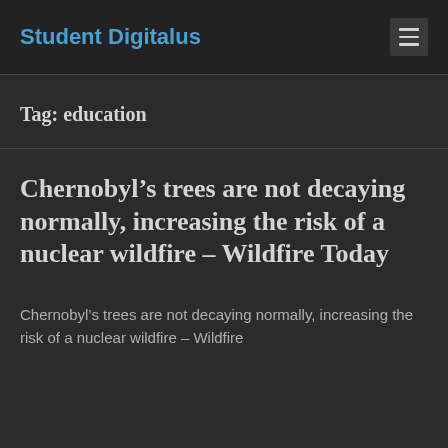Student Digitalus
Tag: education
Chernobyl’s trees are not decaying normally, increasing the risk of a nuclear wildfire – Wildfire Today
Chernobyl’s trees are not decaying normally, increasing the risk of a nuclear wildfire – Wildfire